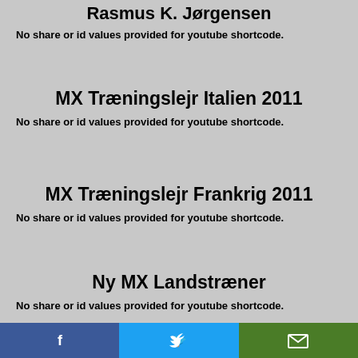Rasmus K. Jørgensen
No share or id values provided for youtube shortcode.
MX Træningslejr Italien 2011
No share or id values provided for youtube shortcode.
MX Træningslejr Frankrig 2011
No share or id values provided for youtube shortcode.
Ny MX Landstræner
No share or id values provided for youtube shortcode.
Valkenswaard-SM Nations 2010-
Facebook | Twitter | Email